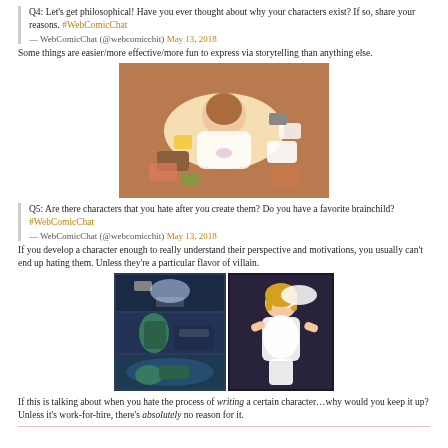Q4: Let's get philosophical! Have you ever thought about why your characters exist? If so, share your reasons. #WebComicChat — WebComicChat (@webcomicchit) May 13, 2018
Some things are easier/more effective/more fun to express via storytelling than anything else.
[Figure (illustration): Illustration of a woman lying on the floor surrounded by books in a colorful comic art style]
Q5: Are there characters that you hate after you create them? Do you have a favorite brainchild? #WebComicChat — WebComicChat (@webcomicchit) May 13, 2018
If you develop a character enough to really understand their perspective and motivations, you usually can't end up hating them. Unless they're a particular flavor of villain.
[Figure (illustration): Comic strip panels showing two characters in dramatic scenes with water and confrontation]
If this is talking about when you hate the process of writing a certain character…why would you keep it up? Unless it's work-for-hire, there's absolutely no reason for it.